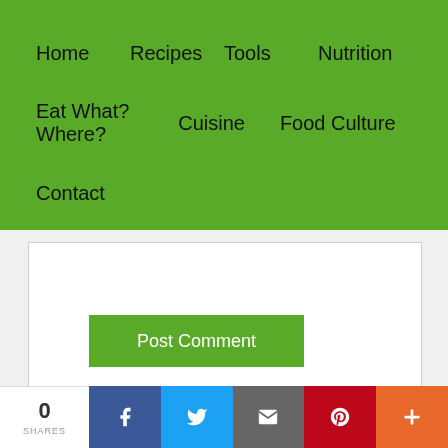Home  Recipes  Tools  Nutrition  Eat What? Where?  Cuisine  Food Culture  Contact
[Figure (screenshot): Post Comment button on white form area]
Post Comment
[Figure (infographic): Social share bar with 0 shares, Facebook, Twitter, Email, Pinterest, and More buttons]